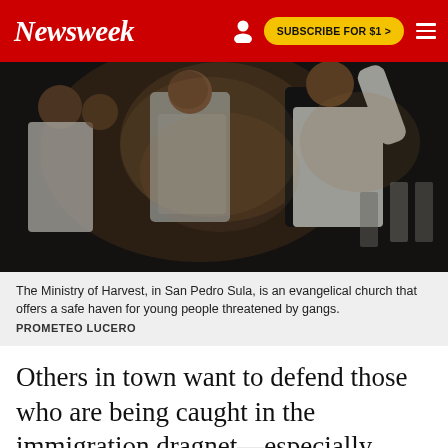Newsweek | SUBSCRIBE FOR $1 >
[Figure (photo): People standing in what appears to be a church gathering, several wearing white polo shirts, with chairs visible in the background. Dark, warm-toned photograph.]
The Ministry of Harvest, in San Pedro Sula, is an evangelical church that offers a safe haven for young people threatened by gangs.
PROMETEO LUCERO
Others in town want to defend those who are being caught in the immigration dragnet—especially Acosta. With the help of the advocacy group Alerta Migratoria NC, his high